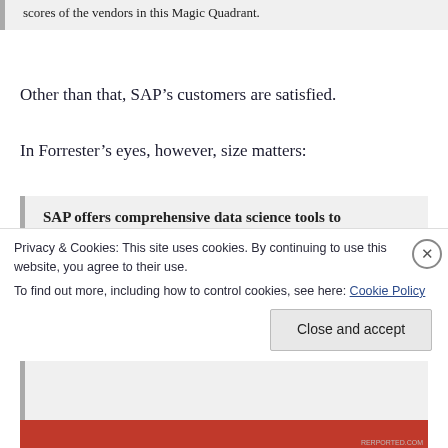scores of the vendors in this Magic Quadrant.
Other than that, SAP’s customers are satisfied.
In Forrester’s eyes, however, size matters:
SAP offers comprehensive data science tools to
Privacy & Cookies: This site uses cookies. By continuing to use this website, you agree to their use.
To find out more, including how to control cookies, see here: Cookie Policy
Close and accept